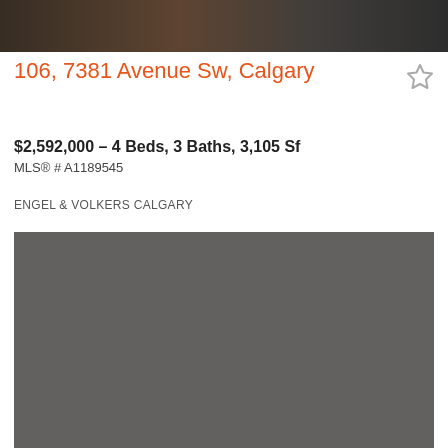[Figure (photo): Top partial photo of a property listing — dark/dim image cropped at top of page]
106, 7381 Avenue Sw, Calgary
$2,592,000 - 4 Beds, 3 Baths, 3,105 Sf
MLS® # A1189545
ENGEL & VOLKERS CALGARY
[Figure (photo): Second property photo — large grey/dark placeholder image of the listing]